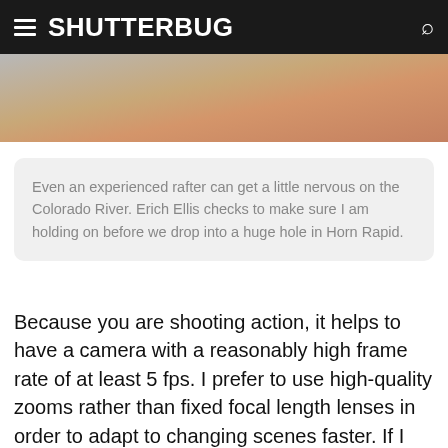SHUTTERBUG
[Figure (photo): Partial view of a rafting scene on the Colorado River, showing sandy/rocky terrain and water]
Even an experienced rafter can get a little nervous on the Colorado River. Erich Ellis checks to make sure I am holding on before we drop into a huge hole in Horn Rapid.
Because you are shooting action, it helps to have a camera with a reasonably high frame rate of at least 5 fps. I prefer to use high-quality zooms rather than fixed focal length lenses in order to adapt to changing scenes faster. If I am planning on shooting from my raft toward another boat, I keep the AF-S